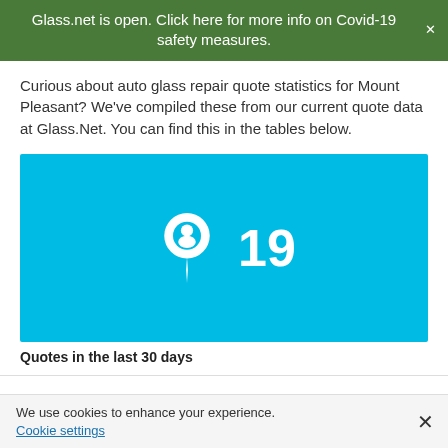Glass.net is open. Click here for more info on Covid-19 safety measures.
Curious about auto glass repair quote statistics for Mount Pleasant? We've compiled these from our current quote data at Glass.Net. You can find this in the tables below.
[Figure (infographic): Blue rectangle with a white Glass.net location-pin-style logo icon on the left and the large white number '19' on the right, representing quotes in the last 30 days.]
Quotes in the last 30 days
We use cookies to enhance your experience.
Cookie settings